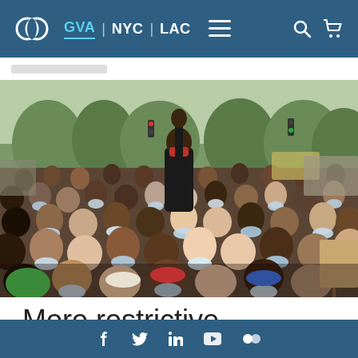GVA | NYC | LAC — navigation bar with logo, menu, search, and cart icons
[Figure (photo): Large crowd of protesters wearing face masks filling a city street; one person stands elevated above the crowd with raised fist; trees and traffic lights visible in background]
More restrictive
Social media icons: Facebook, Twitter, LinkedIn, YouTube, Flickr